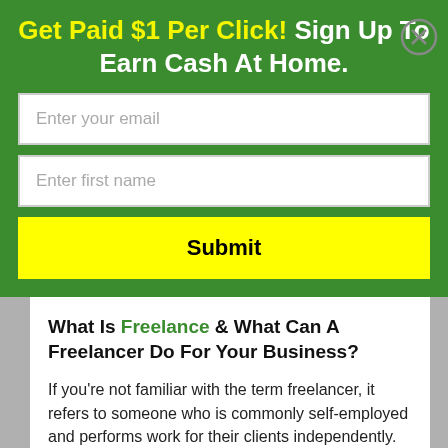Get Paid $1 Per Click! Sign Up To Earn Cash At Home.
Enter your email
Enter first name
Submit
What Is Freelance & What Can A Freelancer Do For Your Business?
If you're not familiar with the term freelancer, it refers to someone who is commonly self-employed and performs work for their clients independently.
Their field of expertise may be in graphic design, writing, social media, video producing, editing,